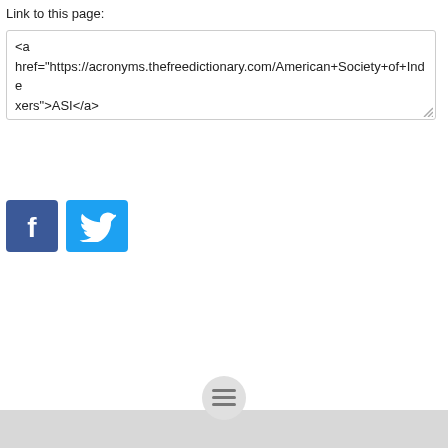Link to this page:
<a href="https://acronyms.thefreedictionary.com/American+Society+of+Indexers">ASI</a>
[Figure (logo): Facebook logo icon - blue square with white F]
[Figure (logo): Twitter logo icon - light blue square with white bird]
[Figure (other): Bottom navigation bar with hamburger menu button (three horizontal lines) centered on a gray bar]